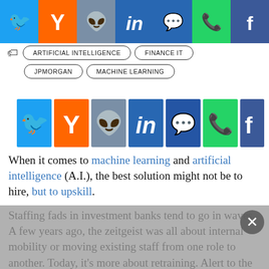[Figure (infographic): Top social sharing bar with icons for Twitter, Hacker News (Y), Reddit, LinkedIn, Messenger, WhatsApp, Facebook on colored backgrounds]
ARTIFICIAL INTELLIGENCE
FINANCE IT
JPMORGAN
MACHINE LEARNING
[Figure (infographic): Middle social sharing icons: Twitter (blue), Hacker News Y (orange), Reddit (gray), LinkedIn (dark blue), Messenger (dark blue), WhatsApp (green), Facebook (dark blue/purple)]
When it comes to machine learning and artificial intelligence (A.I.), the best solution might not be to hire, but to upskill.
Staffing fads in investment banks tend to go in waves. A few years ago, the zeitgeist was all about internal mobility or moving existing staff from one role to another. Today, it's more about retraining. Alert to the fact that they already employ thousands of highly able staff,